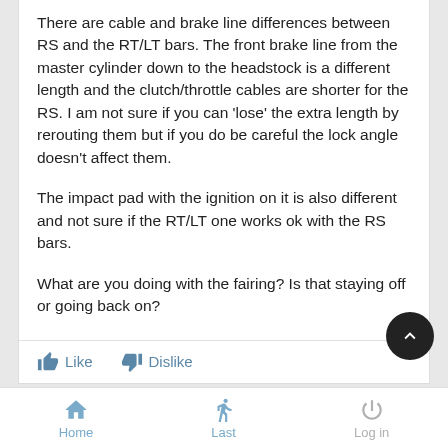There are cable and brake line differences between RS and the RT/LT bars. The front brake line from the master cylinder down to the headstock is a different length and the clutch/throttle cables are shorter for the RS. I am not sure if you can 'lose' the extra length by rerouting them but if you do be careful the lock angle doesn't affect them.
The impact pad with the ignition on it is also different and not sure if the RT/LT one works ok with the RS bars.
What are you doing with the fairing? Is that staying off or going back on?
Like   Dislike
Wed Jan 31, 2018 3:22 pm
Home   Last   Log in